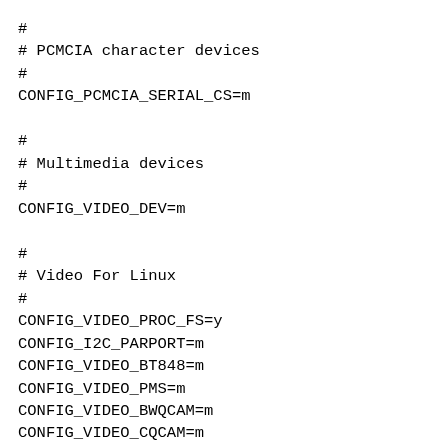#
# PCMCIA character devices
#
CONFIG_PCMCIA_SERIAL_CS=m
#
# Multimedia devices
#
CONFIG_VIDEO_DEV=m
#
# Video For Linux
#
CONFIG_VIDEO_PROC_FS=y
CONFIG_I2C_PARPORT=m
CONFIG_VIDEO_BT848=m
CONFIG_VIDEO_PMS=m
CONFIG_VIDEO_BWQCAM=m
CONFIG_VIDEO_CQCAM=m
CONFIG_VIDEO_W9966=m
CONFIG_VIDEO_CPIA=m
CONFIG_VIDEO_CPIA_PP=m
CONFIG_VIDEO_CPIA_USB=m